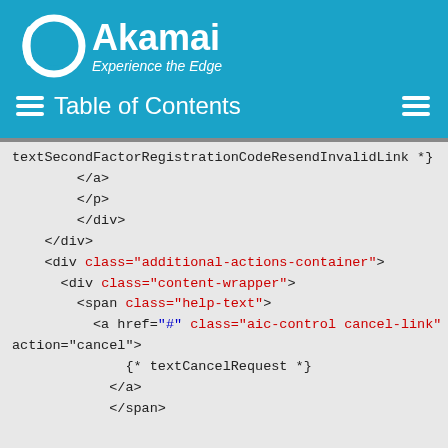Akamai — Experience the Edge — Table of Contents
textSecondFactorRegistrationCodeResendInvalidLink *}
        </a>
        </p>
        </div>
    </div>
    <div class="additional-actions-container">
      <div class="content-wrapper">
        <span class="help-text">
          <a href="#" class="aic-control cancel-link" data-action="cancel">
                {* textCancelRequest *}
            </a>
            </span>